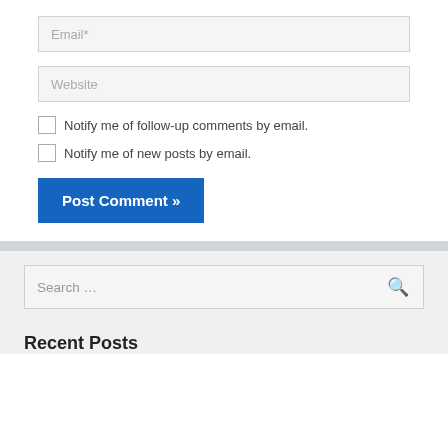Email*
Website
Notify me of follow-up comments by email.
Notify me of new posts by email.
Post Comment »
Search …
Recent Posts